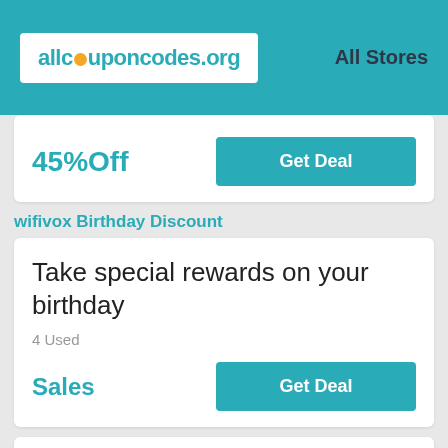allcouponcodes.org  All Stores
45%Off
Get Deal
wifivox Birthday Discount
Take special rewards on your birthday
4 Used
Sales
Get Deal
Take special rewards on your birthday